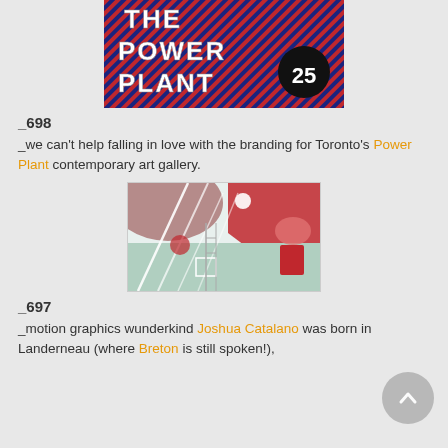[Figure (illustration): Power Plant 25 branding logo with diagonal red and blue stripes and bold text 'THE POWER PLANT' with '25' in a dark circle]
_698
_we can't help falling in love with the branding for Toronto's Power Plant contemporary art gallery.
[Figure (illustration): Abstract illustration with architectural elements, diagonal lines, geometric shapes in red, pink, and teal tones]
_697
_motion graphics wunderkind Joshua Catalano was born in Landerneau (where Breton is still spoken!),